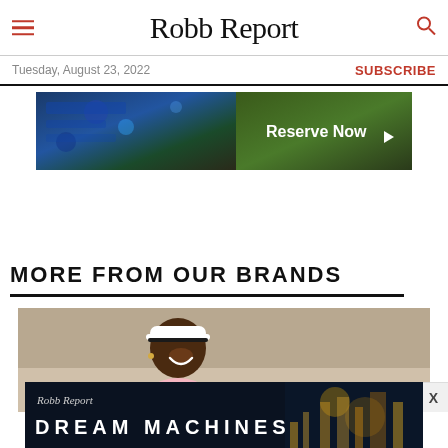Robb Report
Tuesday, August 23, 2022
SUBSCRIBE
[Figure (photo): Advertisement banner with 'Reserve Now' button on dark background with colorful imagery]
MORE FROM OUR BRANDS
[Figure (photo): Photo of a smiling person wearing a white visor and pink shirt, holding a tennis racket, against a concrete wall background]
[Figure (photo): Robb Report Dream Machines advertisement banner with dark blue background and city lights imagery]